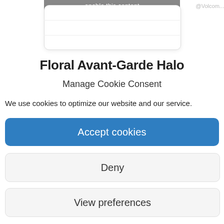[Figure (screenshot): Partially visible banner with text 'enable this content' on a grey background, with a white card below containing two horizontal divider lines. A watermark text '@Volcom...' is partially visible on the right edge.]
Floral Avant-Garde Halo
Manage Cookie Consent
We use cookies to optimize our website and our service.
Accept cookies
Deny
View preferences